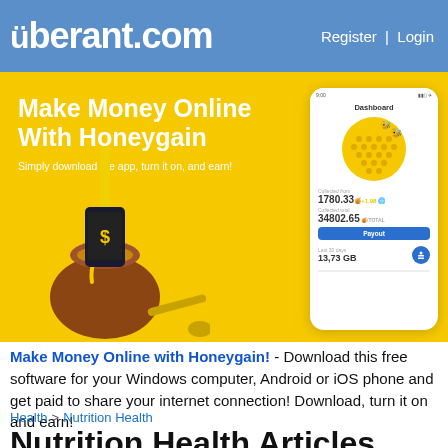überant.com | Register | Login
[Figure (illustration): Honeygain advertisement banner with yellow background, honey pot illustration, phone dashboard mockup showing 1780.33 credits, 34802.65 total, 13.73 GB data, and text 'Make Money Online With Honeygain - Simply download the app, turn it on, and earn!']
Make Money Online with Honeygain! - Download this free software for your Windows computer, Android or iOS phone and get paid to share your internet connection! Download, turn it on and earn!
Health > Nutrition Health
Nutrition Health Articles